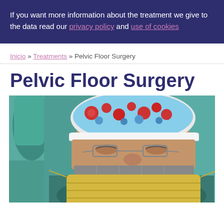If you want more information about the treatment we give to the data read our privacy policy and use of cookies
Inicio » Treatments » Pelvic Floor Surgery
Pelvic Floor Surgery
[Figure (photo): Close-up photo of a surgeon wearing a colorful patterned surgical cap, glasses, and a yellow/grey surgical mask, in an operating room setting with teal background]